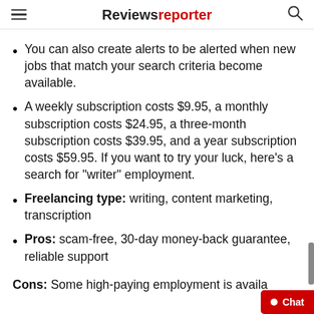Reviewsreporter
You can also create alerts to be alerted when new jobs that match your search criteria become available.
A weekly subscription costs $9.95, a monthly subscription costs $24.95, a three-month subscription costs $39.95, and a year subscription costs $59.95. If you want to try your luck, here’s a search for “writer” employment.
Freelancing type: writing, content marketing, transcription
Pros: scam-free, 30-day money-back guarantee, reliable support
Cons: Some high-paying employment is availa…